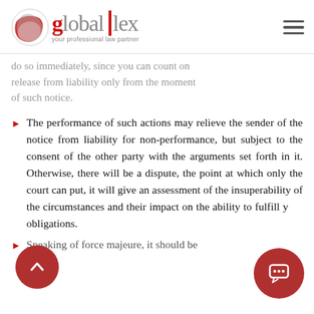[Figure (logo): Global Lex logo with globe icon and tagline 'your professional law partner']
…do so immediately, since you can count on release from liability only from the moment of such notice.
The performance of such actions may relieve the sender of the notice from liability for non-performance, but subject to the consent of the other party with the arguments set forth in it. Otherwise, there will be a dispute, the point at which only the court can put, it will give an assessment of the insuperability of the circumstances and their impact on the ability to fulfill your obligations.
Speaking of force majeure, it should be…